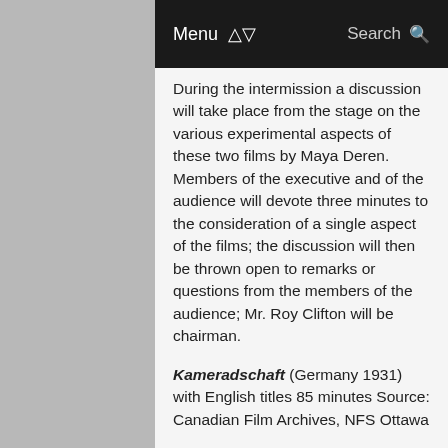Menu | Search
During the intermission a discussion will take place from the stage on the various experimental aspects of these two films by Maya Deren. Members of the executive and of the audience will devote three minutes to the consideration of a single aspect of the films; the discussion will then be thrown open to remarks or questions from the members of the audience; Mr. Roy Clifton will be chairman.
Kameradschaft (Germany 1931) with English titles 85 minutes Source: Canadian Film Archives, NFS Ottawa
Director: G. W. Pabst
Pabst, well—known for his films, The Joyless Street, The Love of Jeanne Ney, The Three Penny Opera, Westfront 1918, White Hell of Pitz